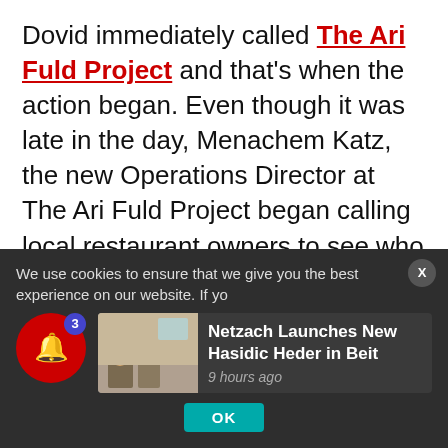Dovid immediately called The Ari Fuld Project and that's when the action began. Even though it was late in the day, Menachem Katz, the new Operations Director at The Ari Fuld Project began calling local restaurant owners to see who would be open Saturday night. No luck.
The Ari Fuld Project told Dovid not to worry, they would make sure his son and his unit got what they needed after Pesach was over.
We use cookies to ensure that we give you the best experience on our website. If yo...
[Figure (photo): Thumbnail photo showing children in a classroom setting]
Netzach Launches New Hasidic Heder in Beit — 9 hours ago